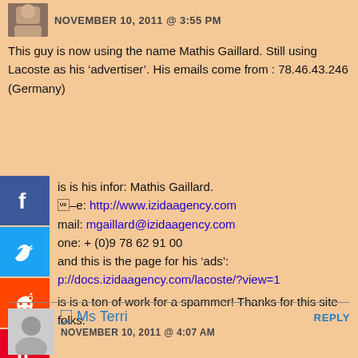NOVEMBER 10, 2011 @ 3:55 PM
This guy is now using the name Mathis Gaillard. Still using Lacoste as his ‘advertiser’. His emails come from : 78.46.43.246 (Germany)
This is his infor: Mathis Gaillard.
Site: http://www.izidaagency.com
Email: mgaillard@izidaagency.com
Phone: + (0)9 78 62 91 00
and this is the page for his ‘ads’:
http://docs.izidaagency.com/lacoste/?view=1
This is a ton of work for a spammer! Thanks for this site folks.
Ms Terri
NOVEMBER 10, 2011 @ 4:07 AM
I got the same thing from “Noa Morin” at karaagency.com (another copy of the same website)